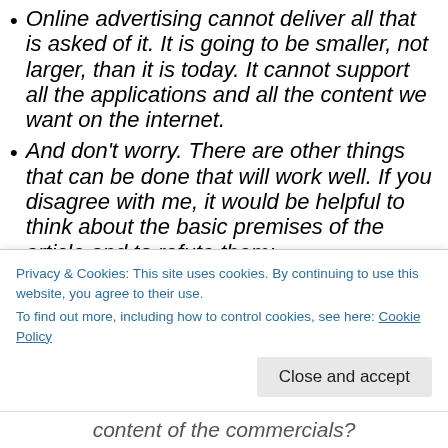Online advertising cannot deliver all that is asked of it. It is going to be smaller, not larger, than it is today. It cannot support all the applications and all the content we want on the internet.
And don't worry. There are other things that can be done that will work well. If you disagree with me, it would be helpful to think about the basic premises of the article and to refute them:
People don't trust ads. There is a vast literature to support this. Is it all wrong?
People don't trust ads. Again, there is vast... content of the commercials?
Privacy & Cookies: This site uses cookies. By continuing to use this website, you agree to their use.
To find out more, including how to control cookies, see here: Cookie Policy